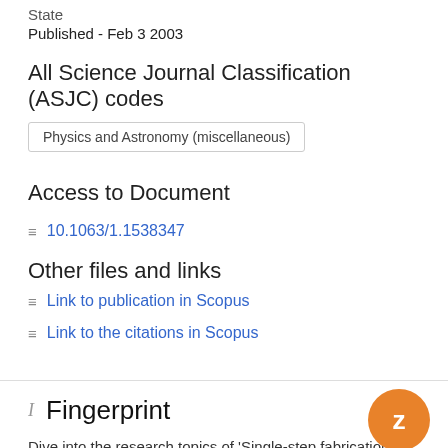State
Published - Feb 3 2003
All Science Journal Classification (ASJC) codes
Physics and Astronomy (miscellaneous)
Access to Document
10.1063/1.1538347
Other files and links
Link to publication in Scopus
Link to the citations in Scopus
Fingerprint
Dive into the research topics of 'Single-step fabrication of silicon-cone arrays'. Together they form a unique fingerprint.